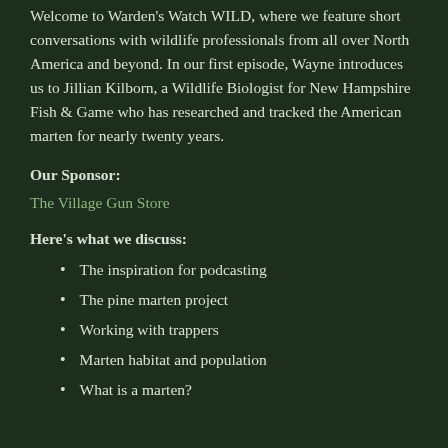Welcome to Warden's Watch WILD, where we feature short conversations with wildlife professionals from all over North America and beyond. In our first episode, Wayne introduces us to Jillian Kilborn, a Wildlife Biologist for New Hampshire Fish & Game who has researched and tracked the American marten for nearly twenty years.
Our Sponsor:
The Village Gun Store
Here's what we discuss:
The inspiration for podcasting
The pine marten project
Working with trappers
Marten habitat and population
What is a marten?